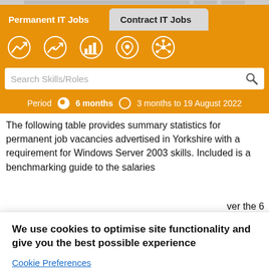[Figure (screenshot): Top navigation strip with grey boxes partially visible]
Permanent IT Jobs
Contract IT Jobs
[Figure (infographic): Orange navigation bar with 5 white circular icons: trend chart, salary chart, bar chart, location pin, network/skills graph]
Search Skills/Roles
Period  6 months  3 months to 19 August 2022
The following table provides summary statistics for permanent job vacancies advertised in Yorkshire with a requirement for Windows Server 2003 skills. Included is a benchmarking guide to the salaries
ver the 6
riod in
Same
riod 2020
161
We use cookies to optimise site functionality and give you the best possible experience
Cookie Preferences
Accept